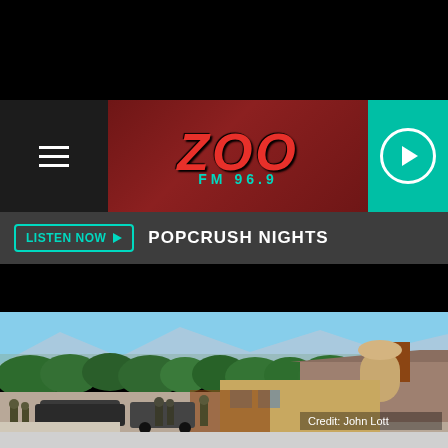[Figure (logo): ZOO FM 96.9 radio station logo in red italic text with teal FM 96.9 subtitle]
[Figure (screenshot): Hamburger menu icon (three horizontal white lines) on dark background]
[Figure (other): Teal circular play button on teal background]
LISTEN NOW ▶  POPCRUSH NIGHTS
[Figure (photo): Aerial view of a residential house with SWAT vehicles and armed officers in front, lush green trees, city skyline and mountains in background. Credit: John Lott]